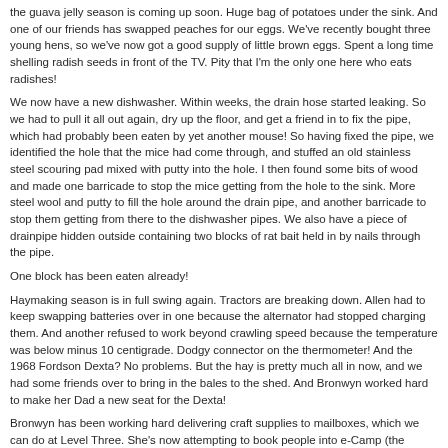the guava jelly season is coming up soon. Huge bag of potatoes under the sink. And one of our friends has swapped peaches for our eggs. We've recently bought three young hens, so we've now got a good supply of little brown eggs. Spent a long time shelling radish seeds in front of the TV. Pity that I'm the only one here who eats radishes!
We now have a new dishwasher. Within weeks, the drain hose started leaking. So we had to pull it all out again, dry up the floor, and get a friend in to fix the pipe, which had probably been eaten by yet another mouse! So having fixed the pipe, we identified the hole that the mice had come through, and stuffed an old stainless steel scouring pad mixed with putty into the hole. I then found some bits of wood and made one barricade to stop the mice getting from the hole to the sink. More steel wool and putty to fill the hole around the drain pipe, and another barricade to stop them getting from there to the dishwasher pipes. We also have a piece of drainpipe hidden outside containing two blocks of rat bait held in by nails through the pipe.
One block has been eaten already!
Haymaking season is in full swing again. Tractors are breaking down. Allen had to keep swapping batteries over in one because the alternator had stopped charging them. And another refused to work beyond crawling speed because the temperature was below minus 10 centigrade. Dodgy connector on the thermometer! And the 1968 Fordson Dexta? No problems. But the hay is pretty much all in now, and we had some friends over to bring in the bales to the shed. And Bronwyn worked hard to make her Dad a new seat for the Dexta!
Bronwyn has been working hard delivering craft supplies to mailboxes, which we can do at Level Three. She's now attempting to book people into e-Camp (the Intermediate version of Easter Camp). She had anticipated a surge in interest, so she pre-booked 30 places. She's now filled them up and needs room for another 7 plus the leaders of that group. The website won't let her book more places until she's registered the first lot. Those places include the leaders, but the website won't let her register them because they're too old. The option to register leaders appears to have disappeared. Once she's done that, she then needs to work out how they're all going to get down there!
[ add comment ] ( 535 views )  |  permalink  |  ●●●○○ ( 3 / 157 )